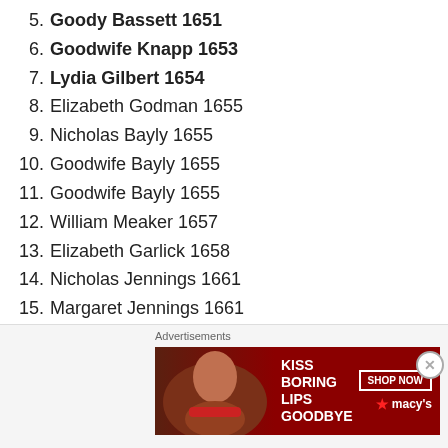5. Goody Bassett 1651
6. Goodwife Knapp 1653
7. Lydia Gilbert 1654
8. Elizabeth Godman 1655
9. Nicholas Bayly 1655
10. Goodwife Bayly 1655
11. Goodwife Bayly 1655
12. William Meaker 1657
13. Elizabeth Garlick 1658
14. Nicholas Jennings 1661
15. Margaret Jennings 1661
16. Nathaniel Greensmith 1662
17. Rebecca Greensmith 1662
[Figure (photo): Advertisement banner: Kiss Boring Lips Goodbye - Shop Now - Macys]